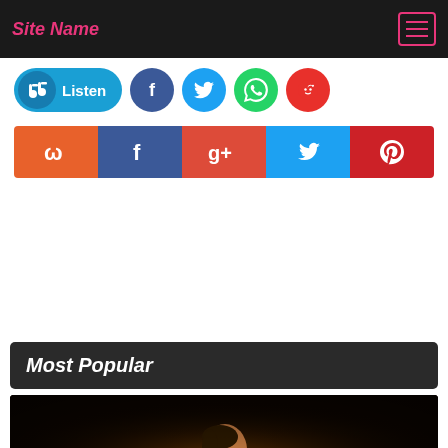Site Name
[Figure (infographic): Social sharing buttons row: Listen button (blue pill), Facebook circle, Twitter circle, WhatsApp circle, Reddit circle]
[Figure (infographic): Share buttons row: StumbleUpon (orange), Facebook (dark blue), Google+ (red-orange), Twitter (blue), Pinterest (red)]
Most Popular
[Figure (photo): Concert photo of a performer singing into a microphone on stage, dark background with warm stage lighting]